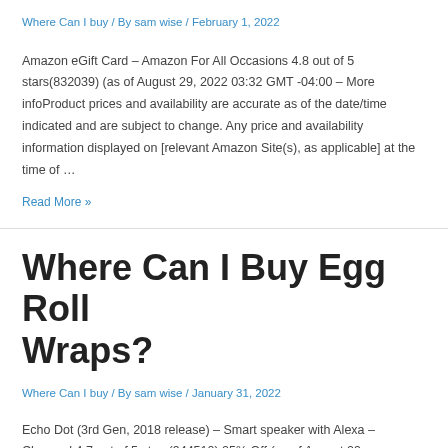Where Can I buy / By sam wise / February 1, 2022
Amazon eGift Card – Amazon For All Occasions 4.8 out of 5 stars(832039) (as of August 29, 2022 03:32 GMT -04:00 – More infoProduct prices and availability are accurate as of the date/time indicated and are subject to change. Any price and availability information displayed on [relevant Amazon Site(s), as applicable] at the time of …
Read More »
Where Can I Buy Egg Roll Wraps?
Where Can I buy / By sam wise / January 31, 2022
Echo Dot (3rd Gen, 2018 release) – Smart speaker with Alexa – Charcoal 4.7 out of 5 stars(944510) 25% Off (as of August 29,